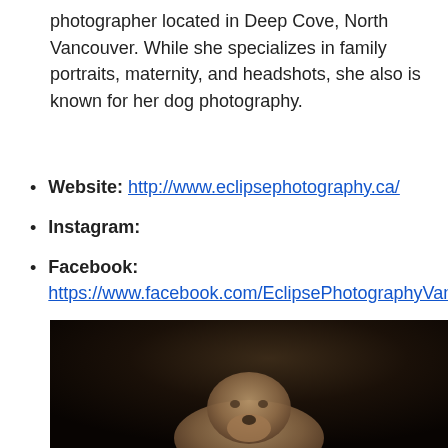photographer located in Deep Cove, North Vancouver. While she specializes in family portraits, maternity, and headshots, she also is known for her dog photography.
Website: http://www.eclipsephotography.ca/
Instagram:
Facebook: https://www.facebook.com/EclipsePhotographyVanc...
[Figure (photo): Dog portrait photograph on dark background]